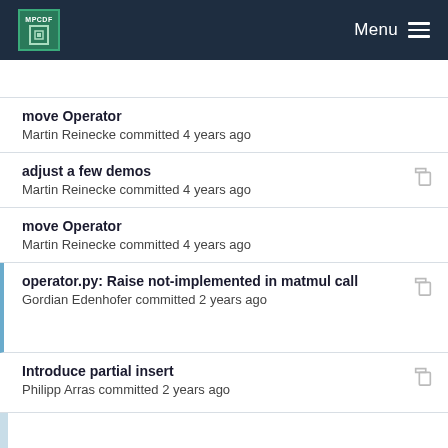MPCDF Menu
move Operator
Martin Reinecke committed 4 years ago
adjust a few demos
Martin Reinecke committed 4 years ago
move Operator
Martin Reinecke committed 4 years ago
operator.py: Raise not-implemented in matmul call
Gordian Edenhofer committed 2 years ago
Introduce partial insert
Philipp Arras committed 2 years ago